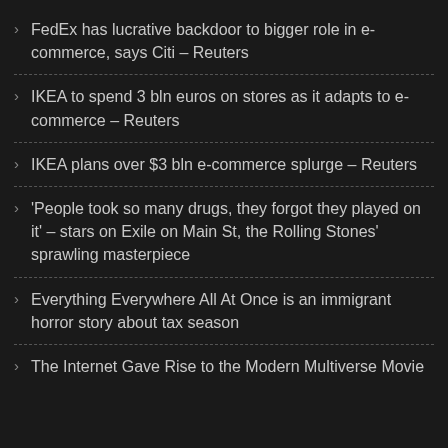FedEx has lucrative backdoor to bigger role in e-commerce, says Citi – Reuters
IKEA to spend 3 bln euros on stores as it adapts to e-commerce – Reuters
IKEA plans over $3 bln e-commerce splurge – Reuters
'People took so many drugs, they forgot they played on it' – stars on Exile on Main St, the Rolling Stones' sprawling masterpiece
Everything Everywhere All At Once is an immigrant horror story about tax season
The Internet Gave Rise to the Modern Multiverse Movie